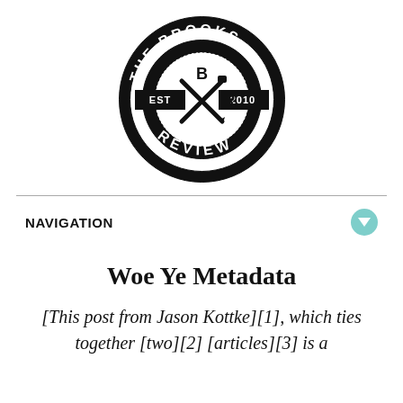[Figure (logo): The Brooks Review circular logo with crossed pen and pencil, EST 2010, black and white]
NAVIGATION
Woe Ye Metadata
[This post from Jason Kottke][1], which ties together [two][2] [articles][3] is a